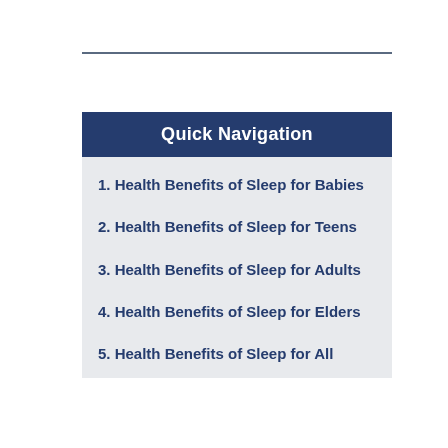Quick Navigation
1. Health Benefits of Sleep for Babies
2. Health Benefits of Sleep for Teens
3. Health Benefits of Sleep for Adults
4. Health Benefits of Sleep for Elders
5. Health Benefits of Sleep for All